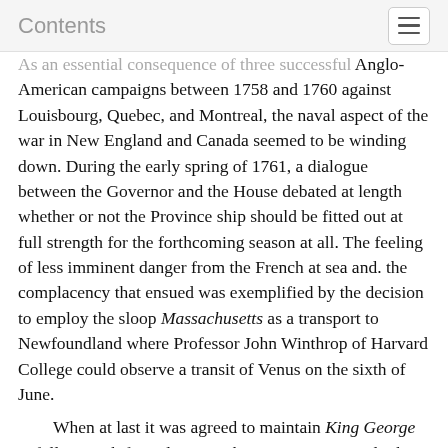Contents
As an essential consequence of three successful Anglo-American campaigns between 1758 and 1760 against Louisbourg, Quebec, and Montreal, the naval aspect of the war in New England and Canada seemed to be winding down. During the early spring of 1761, a dialogue between the Governor and the House debated at length whether or not the Province ship should be fitted out at full strength for the forthcoming season at all. The feeling of less imminent danger from the French at sea and. the complacency that ensued was exemplified by the decision to employ the sloop Massachusetts as a transport to Newfoundland where Professor John Winthrop of Harvard College could observe a transit of Venus on the sixth of June.
    When at last it was agreed to maintain King George at full strength for at least another year, it was nearly the end of April. By the end of May, despite the added inducement of a ten-dollar bounty, only eighty-three